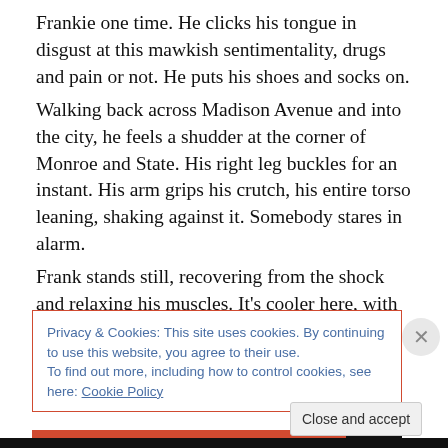Frankie one time. He clicks his tongue in disgust at this mawkish sentimentality, drugs and pain or not. He puts his shoes and socks on.
Walking back across Madison Avenue and into the city, he feels a shudder at the corner of Monroe and State. His right leg buckles for an instant. His arm grips his crutch, his entire torso leaning, shaking against it. Somebody stares in alarm.
Frank stands still, recovering from the shock and relaxing his muscles. It's cooler here, with skyscrapers blocking the light. He sees a man get off a bus, his left leg severed at
Privacy & Cookies: This site uses cookies. By continuing to use this website, you agree to their use.
To find out more, including how to control cookies, see here: Cookie Policy
Close and accept